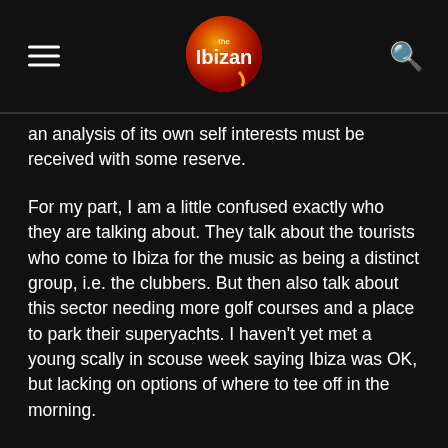The Ibizan
an analysis of its own self interests must be received with some reserve.
For my part, I am a little confused exactly who they are talking about. They talk about the tourists who come to Ibiza for the music as being a distinct group, i.e. the clubbers. But then also talk about this sector needing more golf courses and a place to park their superyachts. I haven't yet met a young scally in scouse week saying Ibiza was OK, but lacking on options of where to tee off in the morning.
In reality I think this report is not talking so much about clubbing tourists as wealthy tourists, who happen to frequent clubs. Quite a different thing.